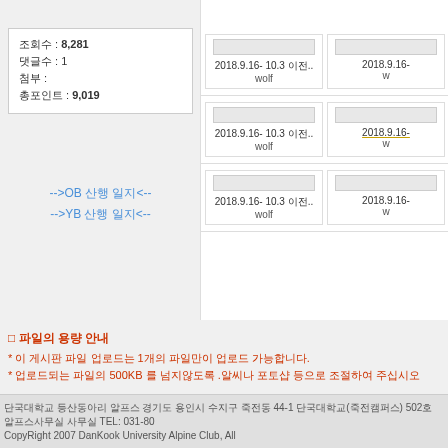조회수 : 8,281
댓글수 : 1
첨부 :
총포인트 : 9,019
-->OB 산행 일지<--
-->YB 산행 일지<--
[Figure (screenshot): Grid of post cards each showing date 2018.9.16- 10.3 이전.. and author wolf]
□ 파일의 용량 안내
* 이 게시판 파일 업로드는 1개의 파일만이 업로드 가능합니다.
* 업로드되는 파일의 500KB 를 넘지않도록 .알씨나 포토샵 등으로 조절하여 주십시오
단국대학교 등산동아리 알프스 경기도 용인시 수지구 죽전동 44-1 단국대학교(죽전캠퍼스) 502호 알프스사무실 사무실 TEL: 031-80
CopyRight 2007 DanKook University Alpine Club, All